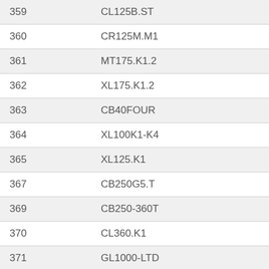| Number | Model |
| --- | --- |
| 359 | CL125B.ST |
| 360 | CR125M.M1 |
| 361 | MT175.K1.2 |
| 362 | XL175.K1.2 |
| 363 | CB40FOUR |
| 364 | XL100K1-K4 |
| 365 | XL125.K1 |
| 367 | CB250G5.T |
| 369 | CB250-360T |
| 370 | CL360.K1 |
| 371 | GL1000-LTD |
| 373 | MR175.K1.2 |